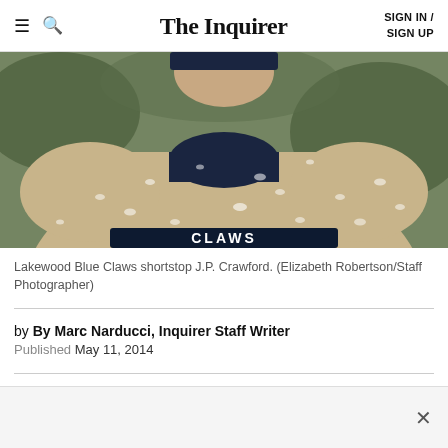The Inquirer | SIGN IN / SIGN UP
[Figure (photo): Close-up photo of Lakewood Blue Claws shortstop J.P. Crawford in a wet baseball uniform with rain droplets visible on his jersey, photographed from chest level up.]
Lakewood Blue Claws shortstop J.P. Crawford. (Elizabeth Robertson/Staff Photographer)
by By Marc Narducci, Inquirer Staff Writer
Published May 11, 2014